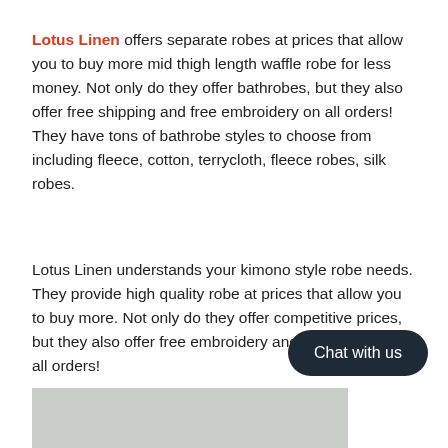Lotus Linen offers separate robes at prices that allow you to buy more mid thigh length waffle robe for less money. Not only do they offer bathrobes, but they also offer free shipping and free embroidery on all orders! They have tons of bathrobe styles to choose from including fleece, cotton, terrycloth, fleece robes, silk robes.
Lotus Linen understands your kimono style robe needs. They provide high quality robe at prices that allow you to buy more. Not only do they offer competitive prices, but they also offer free embroidery and free shipping on all orders!
[Figure (other): Gray rectangular image area at the bottom of the page, partially visible]